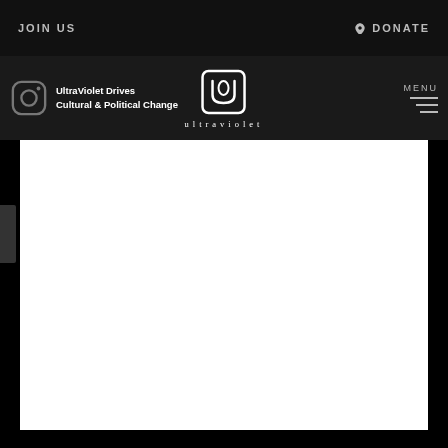JOIN US
DONATE
[Figure (logo): Ultraviolet logo with stylized UV monogram and wordmark 'ultraviolet']
UltraViolet Drives Cultural & Political Change
[Figure (screenshot): Large white content area occupying the lower portion of the page]